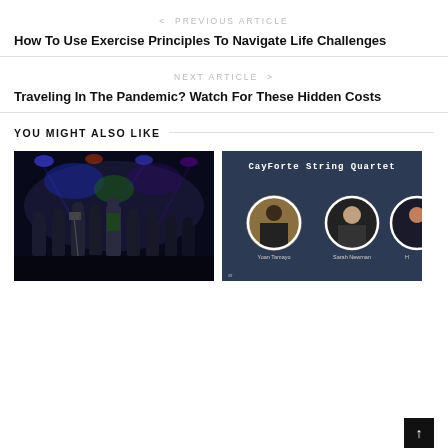< PREVIOUS ARTICLE
How To Use Exercise Principles To Navigate Life Challenges
NEXT ARTICLE >
Traveling In The Pandemic? Watch For These Hidden Costs
YOU MIGHT ALSO LIKE
[Figure (photo): Concert photo showing a band performing on stage with colorful stage lighting at night]
[Figure (photo): CayForte String Quartet promotional image with circular member photos including Yoan Tamayo and Sarah Newman on a dark blue background]